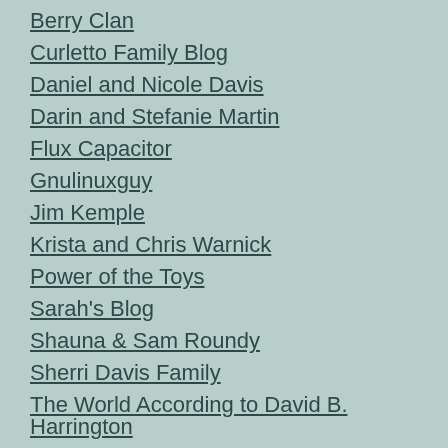Berry Clan
Curletto Family Blog
Daniel and Nicole Davis
Darin and Stefanie Martin
Flux Capacitor
Gnulinuxguy
Jim Kemple
Krista and Chris Warnick
Power of the Toys
Sarah's Blog
Shauna & Sam Roundy
Sherri Davis Family
The World According to David B. Harrington